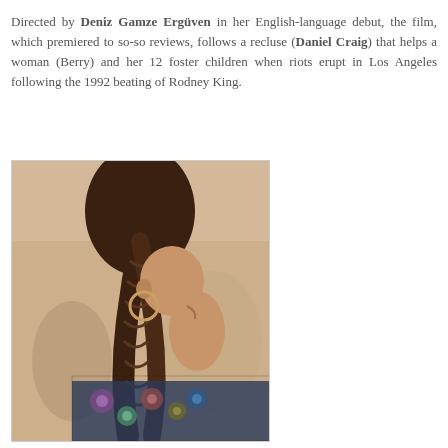Directed by Deniz Gamze Ergüven in her English-language debut, the film, which premiered to so-so reviews, follows a recluse (Daniel Craig) that helps a woman (Berry) and her 12 foster children when riots erupt in Los Angeles following the 1992 beating of Rodney King.
[Figure (photo): A woman with a braided ponytail hairstyle, wearing a floral patterned dress with lace details, photographed from behind/side profile at what appears to be a red carpet event. She is wearing large hoop earrings.]